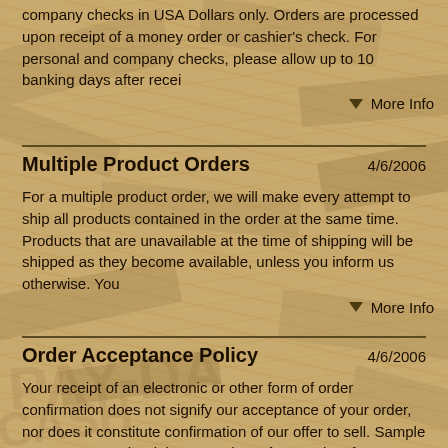company checks in USA Dollars only. Orders are processed upon receipt of a money order or cashier's check. For personal and company checks, please allow up to 10 banking days after recei
More Info
Multiple Product Orders
4/6/2006
For a multiple product order, we will make every attempt to ship all products contained in the order at the same time. Products that are unavailable at the time of shipping will be shipped as they become available, unless you inform us otherwise. You
More Info
Order Acceptance Policy
4/6/2006
Your receipt of an electronic or other form of order confirmation does not signify our acceptance of your order, nor does it constitute confirmation of our offer to sell. Sample Store reserves the right at any time after receipt of your order to acce
More Info